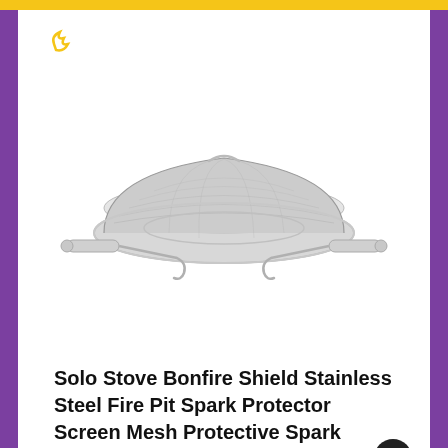[Figure (photo): A stainless steel fire pit spark screen mesh (Solo Stove Bonfire Shield) shown from above at an angle. The circular domed mesh screen has two separate metal hook/poker tools with cylindrical handles flanking it on the left and right sides.]
Solo Stove Bonfire Shield Stainless Steel Fire Pit Spark Protector Screen Mesh Protective Spark Screen for